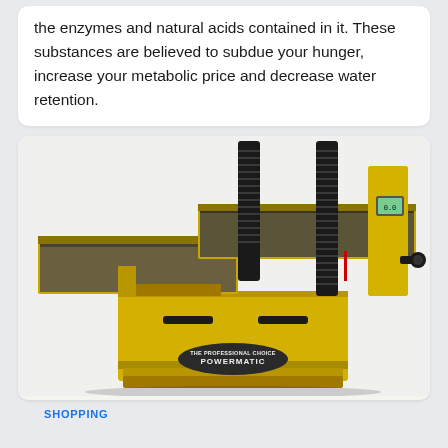the enzymes and natural acids contained in it. These substances are believed to subdue your hunger, increase your metabolic price and decrease water retention.
[Figure (photo): A large yellow Powermatic woodworking machine (planer/drum sander) with a wide flat table surface, black threaded columns, and the Powermatic logo on the base cabinet.]
SHOPPING